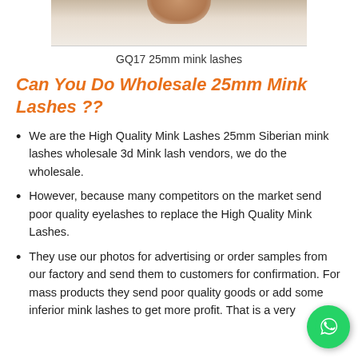[Figure (photo): Cropped photo showing fingers holding mink lashes product against white background]
GQ17 25mm mink lashes
Can You Do Wholesale 25mm Mink Lashes ??
We are the High Quality Mink Lashes 25mm Siberian mink lashes wholesale 3d Mink lash vendors, we do the wholesale.
However, because many competitors on the market send poor quality eyelashes to replace the High Quality Mink Lashes.
They use our photos for advertising or order samples from our factory and send them to customers for confirmation. For mass products they send poor quality goods or add some inferior mink lashes to get more profit. That is a very